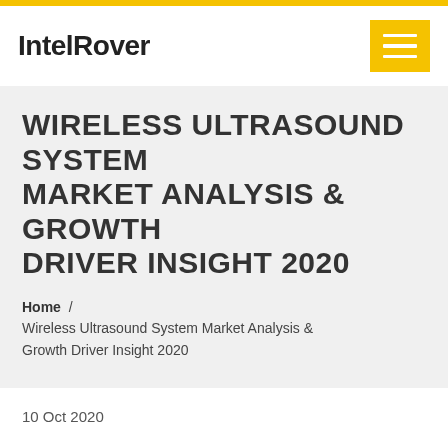IntelRover
WIRELESS ULTRASOUND SYSTEM MARKET ANALYSIS & GROWTH DRIVER INSIGHT 2020
Home / Wireless Ultrasound System Market Analysis & Growth Driver Insight 2020
10 Oct 2020